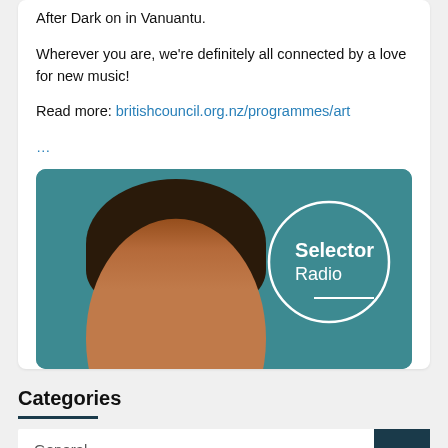After Dark on in Vanuantu.

Wherever you are, we're definitely all connected by a love for new music!

Read more: britishcouncil.org.nz/programmes/art
…
[Figure (photo): Selector Radio branded image showing a young woman with braids against a teal background, with a circular Selector Radio logo on the right]
Categories
General
Instruments